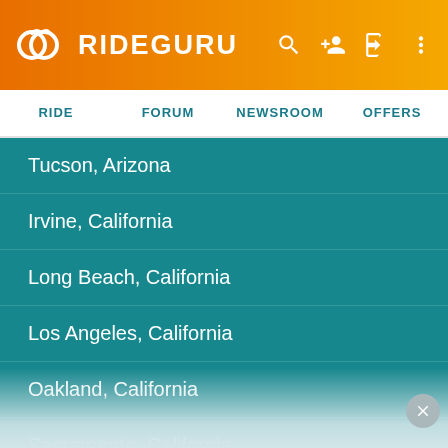RIDEGURU
RIDE | FORUM | NEWSROOM | OFFERS
Tucson, Arizona
Irvine, California
Long Beach, California
Los Angeles, California
Oakland, California
Sacramento, California
San Bernardino, California
San Diego, California
San Francisco, California